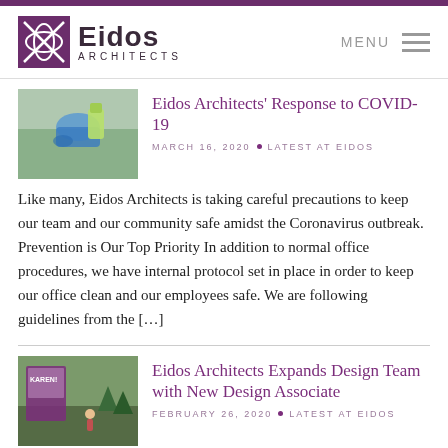Eidos Architects — MENU
Eidos Architects' Response to COVID-19
MARCH 16, 2020 • LATEST AT EIDOS
Like many, Eidos Architects is taking careful precautions to keep our team and our community safe amidst the Coronavirus outbreak. Prevention is Our Top Priority In addition to normal office procedures, we have internal protocol set in place in order to keep our office clean and our employees safe. We are following guidelines from the […]
Eidos Architects Expands Design Team with New Design Associate
FEBRUARY 26, 2020 • LATEST AT EIDOS